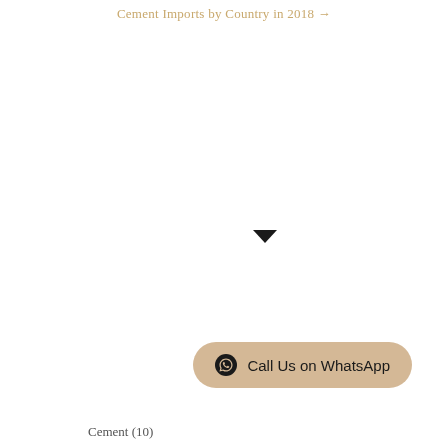Cement Imports by Country in 2018 →
[Figure (other): Black banner with white uppercase text 'FOLLOW US ON INSTRAGRAM' with a downward-pointing arrow/chevron below it]
[Figure (other): Black banner with white uppercase text 'PRODUCTS']
[Figure (other): WhatsApp call-to-action button with icon and text 'Call Us on WhatsApp' in a rounded beige/tan pill shape]
Cement (10)